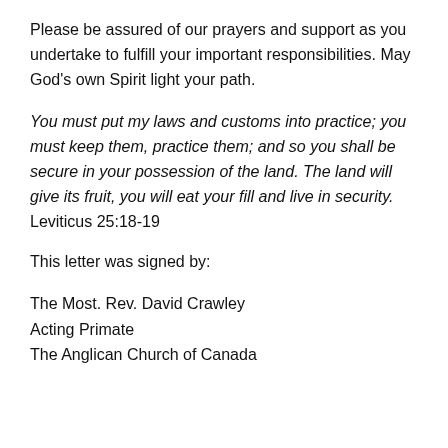Please be assured of our prayers and support as you undertake to fulfill your important responsibilities. May God’s own Spirit light your path.
You must put my laws and customs into practice; you must keep them, practice them; and so you shall be secure in your possession of the land. The land will give its fruit, you will eat your fill and live in security.
Leviticus 25:18-19
This letter was signed by:
The Most. Rev. David Crawley
Acting Primate
The Anglican Church of Canada